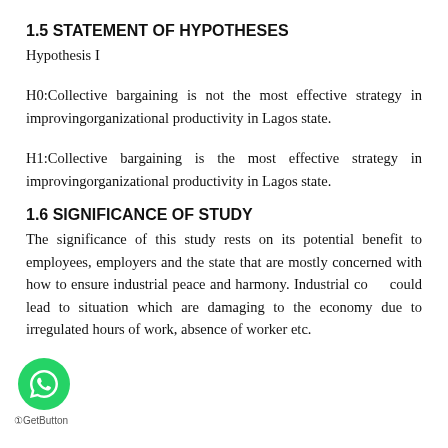1.5 STATEMENT OF HYPOTHESES
Hypothesis I
H0:Collective bargaining is not the most effective strategy in improvingorganizational productivity in Lagos state.
H1:Collective bargaining is the most effective strategy in improvingorganizational productivity in Lagos state.
1.6 SIGNIFICANCE OF STUDY
The significance of this study rests on its potential benefit to employees, employers and the state that are mostly concerned with how to ensure industrial peace and harmony. Industrial co could lead to situation which are damaging to the economy due to irregulated hours of work, absence of worker etc.